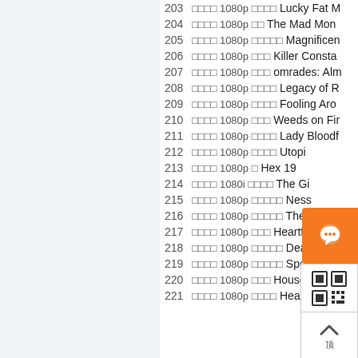203 □□□□ 1080p □□□□ Lucky Fat M
204 □□□□ 1080p □□ The Mad Mon
205 □□□□ 1080p □□□□□ Magnificen
206 □□□□ 1080p □□□ Killer Consta
207 □□□□ 1080p □□□ omrades: Alm
208 □□□□ 1080p □□□□ Legacy of R
209 □□□□ 1080p □□□□ Fooling Aro
210 □□□□ 1080p □□□ Weeds on Fir
211 □□□□ 1080p □□□□ Lady Bloodf
212 □□□□ 1080p □□□□ Utopi
213 □□□□ 1080p □ Hex  19
214 □□□□ 1080i □□□□ The Gi
215 □□□□ 1080p □□□□□ Ness
216 □□□□ 1080p □□□□□ The Menu
217 □□□□ 1080p □□□ Heartf
218 □□□□ 1080p □□□□□ Death Duel
219 □□□□ 1080p □□□□□ Special Fem
220 □□□□ 1080p □□□ House of Tra
221 □□□□ 1080p □□□□ Heaven in th